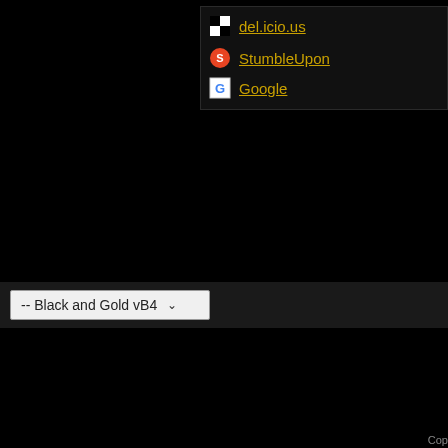del.icio.us
StumbleUpon
Google
-- Black and Gold vB4
Cop